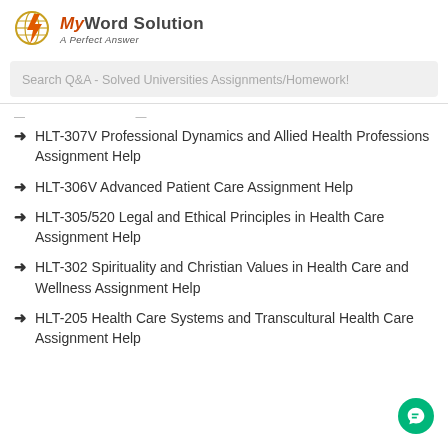[Figure (logo): MyWord Solution - A Perfect Answer logo with orange lightning bolt icon]
Search Q&A - Solved Universities Assignments/Homework!
...
HLT-307V Professional Dynamics and Allied Health Professions Assignment Help
HLT-306V Advanced Patient Care Assignment Help
HLT-305/520 Legal and Ethical Principles in Health Care Assignment Help
HLT-302 Spirituality and Christian Values in Health Care and Wellness Assignment Help
HLT-205 Health Care Systems and Transcultural Health Care Assignment Help